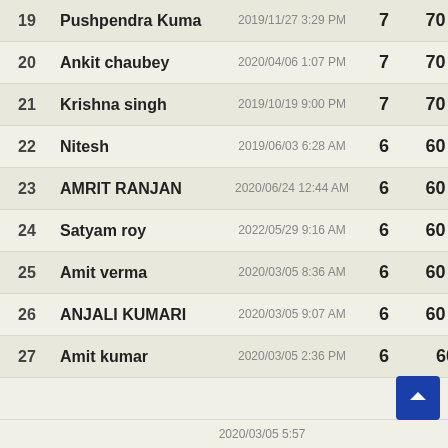| # | Name | Date | Score | Percent |
| --- | --- | --- | --- | --- |
| 19 | Pushpendra Kuma | 2019/11/27 3:29 PM | 7 | 70 % |
| 20 | Ankit chaubey | 2020/04/06 1:07 PM | 7 | 70 % |
| 21 | Krishna singh | 2019/10/19 9:00 PM | 7 | 70 % |
| 22 | Nitesh | 2019/06/03 6:28 AM | 6 | 60 % |
| 23 | AMRIT RANJAN | 2020/06/24 12:44 AM | 6 | 60 % |
| 24 | Satyam roy | 2022/05/29 9:16 AM | 6 | 60 % |
| 25 | Amit verma | 2020/03/05 8:36 AM | 6 | 60 % |
| 26 | ANJALI KUMARI | 2020/03/05 9:07 AM | 6 | 60 % |
| 27 | Amit kumar | 2020/03/05 2:36 PM | 6 | 60 (partial) |
| 28 | (partial) | 2020/03/05 5:57... |  |  |